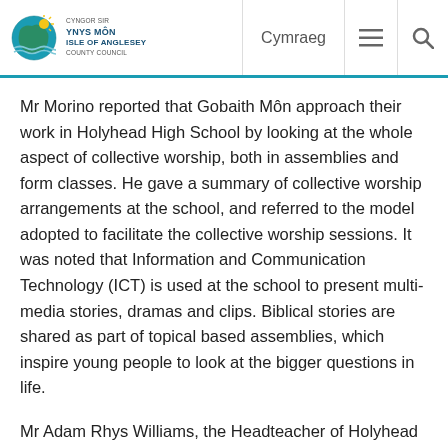Cyngor Sir Ynys Môn Isle of Anglesey County Council | Cymraeg
Mr Morino reported that Gobaith Môn approach their work in Holyhead High School by looking at the whole aspect of collective worship, both in assemblies and form classes. He gave a summary of collective worship arrangements at the school, and referred to the model adopted to facilitate the collective worship sessions. It was noted that Information and Communication Technology (ICT) is used at the school to present multi-media stories, dramas and clips. Biblical stories are shared as part of topical based assemblies, which inspire young people to look at the bigger questions in life.
Mr Adam Rhys Williams, the Headteacher of Holyhead High School reported that the work carried out by Gobaith Môn is subtle, engaging and relevant. Pupils are engaged in the morning assembly, and interact well with the team. Gobaith Môn also provide breakfast for pupils at the school; work on the school newsletter, and provide